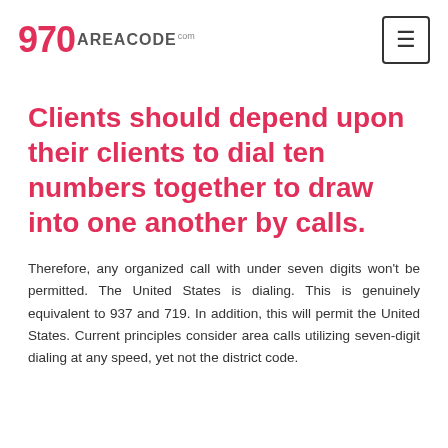970 AREACODE .com [navigation menu button]
Clients should depend upon their clients to dial ten numbers together to draw into one another by calls.
Therefore, any organized call with under seven digits won't be permitted. The United States is dialing. This is genuinely equivalent to 937 and 719. In addition, this will permit the United States. Current principles consider area calls utilizing seven-digit dialing at any speed, yet not the district code.